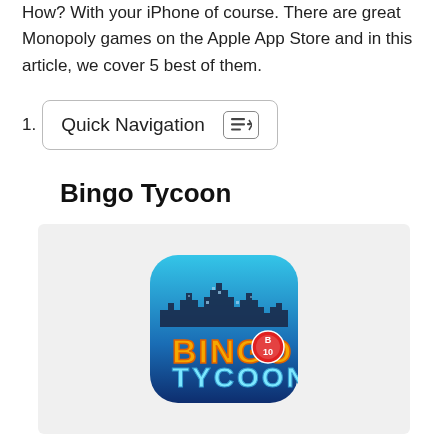How? With your iPhone of course. There are great Monopoly games on the Apple App Store and in this article, we cover 5 best of them.
Quick Navigation
Bingo Tycoon
[Figure (illustration): Bingo Tycoon app icon: blue rounded square with city skyline silhouette at top, 'BINGO' in orange/yellow text with a bingo ball showing B10, and 'TYCOON' in light blue text below, dark blue gradient background.]